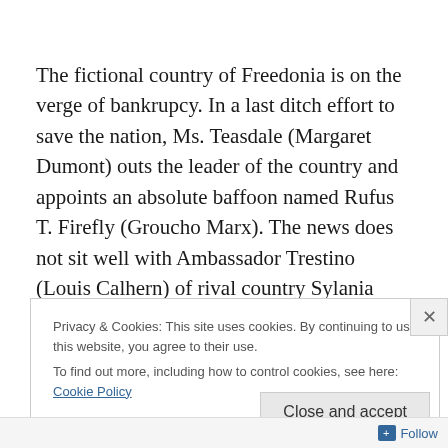The fictional country of Freedonia is on the verge of bankrupcy. In a last ditch effort to save the nation, Ms. Teasdale (Margaret Dumont) outs the leader of the country and appoints an absolute baffoon named Rufus T. Firefly (Groucho Marx). The news does not sit well with Ambassador Trestino (Louis Calhern) of rival country Sylania wants to take over both countries. He conspires with the famous dancer, Vera Marcal (Raquel Torres) to find some sort of dirt on the new leader to oust him.
Privacy & Cookies: This site uses cookies. By continuing to use this website, you agree to their use.
To find out more, including how to control cookies, see here: Cookie Policy
Close and accept